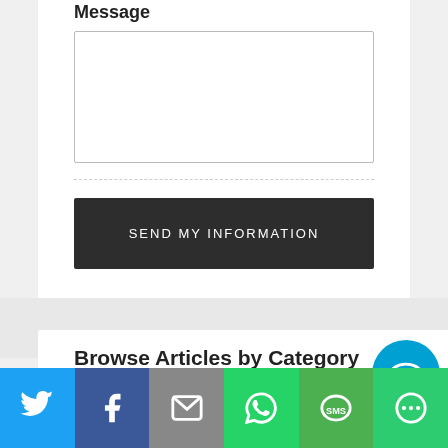Message
[Figure (screenshot): Empty message text area input box with border]
[Figure (screenshot): Dark grey Send My Information button]
Browse Articles by Category
[Figure (infographic): Social sharing bar with Twitter, Facebook, Email, WhatsApp, SMS, and More buttons]